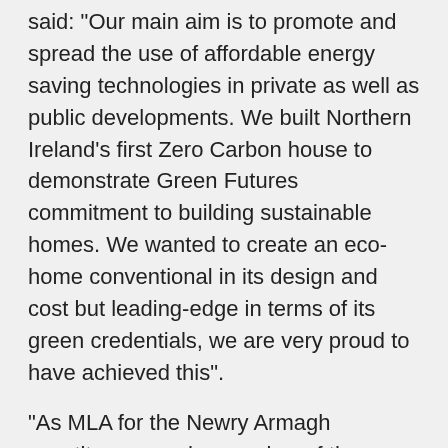said: "Our main aim is to promote and spread the use of affordable energy saving technologies in private as well as public developments. We built Northern Ireland's first Zero Carbon house to demonstrate Green Futures commitment to building sustainable homes. We wanted to create an eco-home conventional in its design and cost but leading-edge in terms of its green credentials, we are very proud to have achieved this".
"As MLA for the Newry Armagh constituency and a member of the Assembly's Environment Committee I have taken a keen interest in this exciting initiative, the North's first ever zero carbon rated house". Said Cathal Boylan MLA
Cathal Boylan continued "I wish to commend Green Future and its Managing Director John McClatchey, whom I have assisted on this project over the past